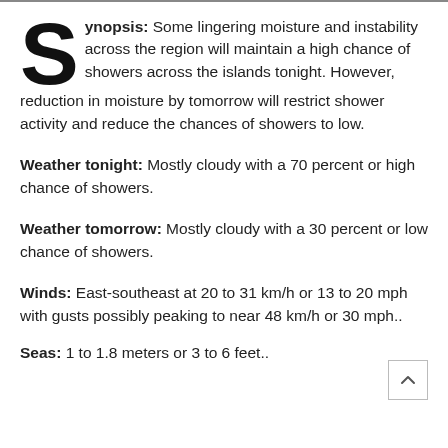Synopsis: Some lingering moisture and instability across the region will maintain a high chance of showers across the islands tonight. However, reduction in moisture by tomorrow will restrict shower activity and reduce the chances of showers to low.
Weather tonight: Mostly cloudy with a 70 percent or high chance of showers.
Weather tomorrow: Mostly cloudy with a 30 percent or low chance of showers.
Winds: East-southeast at 20 to 31 km/h or 13 to 20 mph with gusts possibly peaking to near 48 km/h or 30 mph..
Seas: 1 to 1.8 meters or 3 to 6 feet..